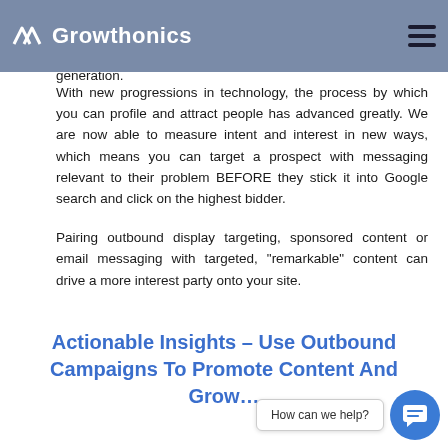Growthonics
much clearer, more accurate profile of a prospect's intent. If someone has searched "how to generate leads" and clicks on our content, we know that they are in need of lead generation.
With new progressions in technology, the process by which you can profile and attract people has advanced greatly. We are now able to measure intent and interest in new ways, which means you can target a prospect with messaging relevant to their problem BEFORE they stick it into Google search and click on the highest bidder.
Pairing outbound display targeting, sponsored content or email messaging with targeted, “remarkable” content can drive a more interest party onto your site.
Actionable Insights – Use Outbound Campaigns To Promote Content And Grow…